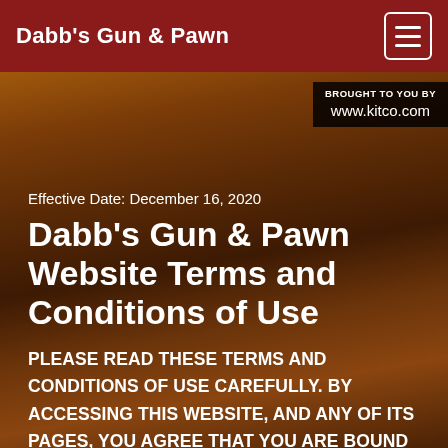Dabb's Gun & Pawn
[Figure (other): Wood texture background image with dark brown grain pattern]
BROUGHT TO YOU BY www.kitco.com
Effective Date: December 16, 2020
Dabb's Gun & Pawn Website Terms and Conditions of Use
PLEASE READ THESE TERMS AND CONDITIONS OF USE CAREFULLY. BY ACCESSING THIS WEBSITE, AND ANY OF ITS PAGES, YOU AGREE THAT YOU ARE BOUND BY THESE TERMS AND CONDITIONS OF USE AS THEY MAY BE AMENDED FROM TIME TO TIME. IF YOU DO NOT AGREE WITH ANY OF THESE TERMS AND CONDITIONS OF USE, PLEASE EXIT THIS